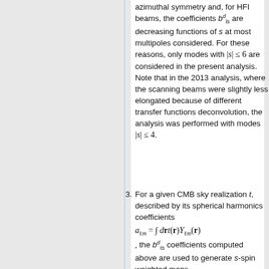azimuthal symmetry and, for HFI beams, the coefficients b^d_{ls} are decreasing functions of s at most multipoles considered. For these reasons, only modes with |s| ≤ 6 are considered in the present analysis. Note that in the 2013 analysis, where the scanning beams were slightly less elongated because of different transfer functions deconvolution, the analysis was performed with modes |s| ≤ 4.
3. For a given CMB sky realization t, described by its spherical harmonics coefficients a_{ℓm} = ∫ dr t(r) Y_{ℓm}(r), the b^d_{ℓs} coefficients computed above are used to generate s-spin weighted maps